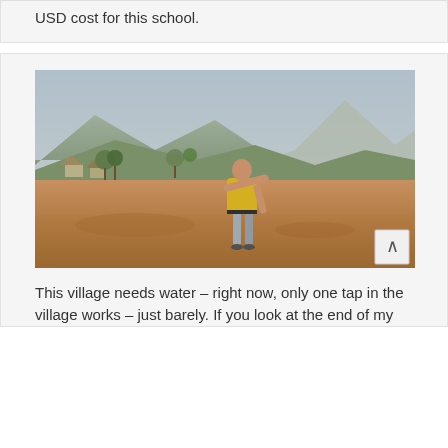USD cost for this school.
[Figure (photo): A man in a yellow t-shirt stands on red dirt ground, pointing toward the distance. Behind him is a rural village with trees, huts, and mountains in a hazy sky.]
This village needs water – right now, only one tap in the village works – just barely. If you look at the end of my